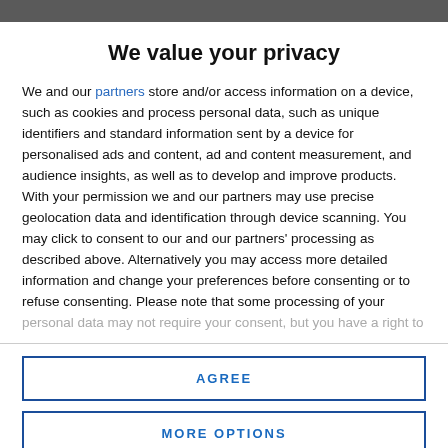We value your privacy
We and our partners store and/or access information on a device, such as cookies and process personal data, such as unique identifiers and standard information sent by a device for personalised ads and content, ad and content measurement, and audience insights, as well as to develop and improve products. With your permission we and our partners may use precise geolocation data and identification through device scanning. You may click to consent to our and our partners' processing as described above. Alternatively you may access more detailed information and change your preferences before consenting or to refuse consenting. Please note that some processing of your personal data may not require your consent, but you have a right to
AGREE
MORE OPTIONS
[Figure (photo): Dark background image visible at bottom of page]